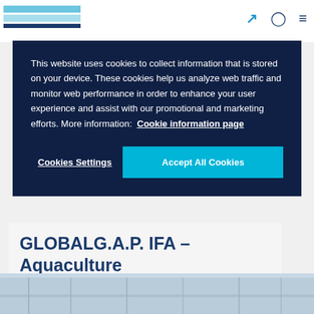GLOBALGAP website header with logo and navigation icons
This website uses cookies to collect information that is stored on your device. These cookies help us analyze web traffic and monitor web performance in order to enhance your user experience and assist with our promotional and marketing efforts. More information: Cookie information page
Cookies Settings | Accept All Cookies
GLOBALG.A.P. IFA – Aquaculture
[Figure (photo): Photo of aquaculture facility at the bottom of the page]